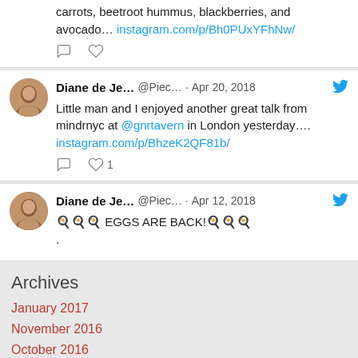carrots, beetroot hummus, blackberries, and avocado… instagram.com/p/Bh0PUxYFhNw/
Diane de Je… @Piec… · Apr 20, 2018
Little man and I enjoyed another great talk from mindrnyc at @gnrtavern in London yesterday…. instagram.com/p/BhzeK2QF81b/
Diane de Je… @Piec… · Apr 12, 2018
🍳🍳🍳 EGGS ARE BACK!🍳🍳🍳
.
Archives
January 2017
November 2016
October 2016
September 2016
July 2016